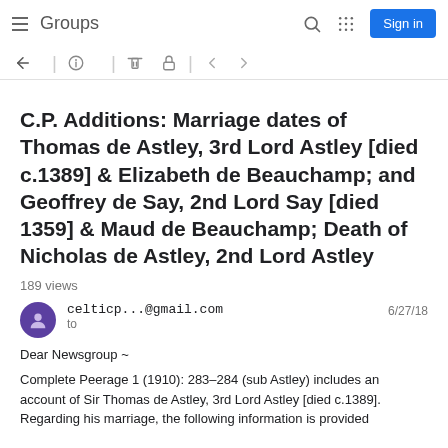Groups  Sign in
C.P. Additions: Marriage dates of Thomas de Astley, 3rd Lord Astley [died c.1389] & Elizabeth de Beauchamp; and Geoffrey de Say, 2nd Lord Say [died 1359] & Maud de Beauchamp; Death of Nicholas de Astley, 2nd Lord Astley
189 views
celticp...@gmail.com  to  6/27/18
Dear Newsgroup ~

Complete Peerage 1 (1910): 283-284 (sub Astley) includes an account of Sir Thomas de Astley, 3rd Lord Astley [died c.1389]. Regarding his marriage, the following information is provided...